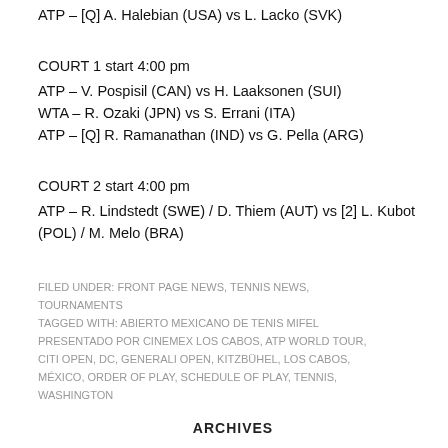ATP – [Q] A. Halebian (USA) vs L. Lacko (SVK)
COURT 1 start 4:00 pm
ATP – V. Pospisil (CAN) vs H. Laaksonen (SUI)
WTA – R. Ozaki (JPN) vs S. Errani (ITA)
ATP – [Q] R. Ramanathan (IND) vs G. Pella (ARG)
COURT 2 start 4:00 pm
ATP – R. Lindstedt (SWE) / D. Thiem (AUT) vs [2] L. Kubot (POL) / M. Melo (BRA)
FILED UNDER: FRONT PAGE NEWS, TENNIS NEWS, TOURNAMENTS
TAGGED WITH: ABIERTO MEXICANO DE TENIS MIFEL PRESENTADO POR CINEMEX LOS CABOS, ATP WORLD TOUR, CITI OPEN, DC, GENERALI OPEN, KITZBÜHEL, LOS CABOS, MÉXICO, ORDER OF PLAY, SCHEDULE OF PLAY, TENNIS, WASHINGTON
ARCHIVES